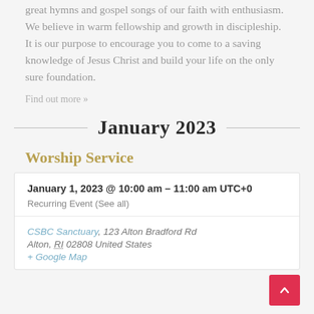great hymns and gospel songs of our faith with enthusiasm. We believe in warm fellowship and growth in discipleship. It is our purpose to encourage you to come to a saving knowledge of Jesus Christ and build your life on the only sure foundation.
Find out more »
January 2023
Worship Service
January 1, 2023 @ 10:00 am - 11:00 am UTC+0
Recurring Event (See all)
CSBC Sanctuary, 123 Alton Bradford Rd Alton, RI 02808 United States + Google Map